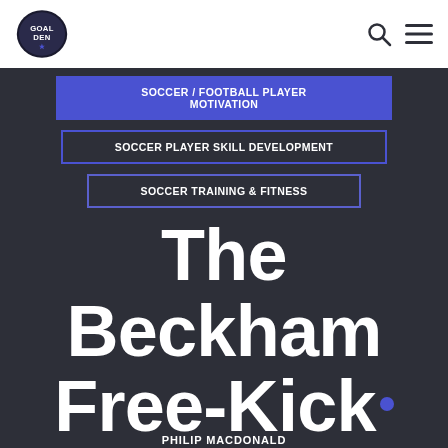Goal Den logo, search icon, menu icon
SOCCER / FOOTBALL PLAYER MOTIVATION
SOCCER PLAYER SKILL DEVELOPMENT
SOCCER TRAINING & FITNESS
The Beckham Free-Kick
PHILIP MACDONALD